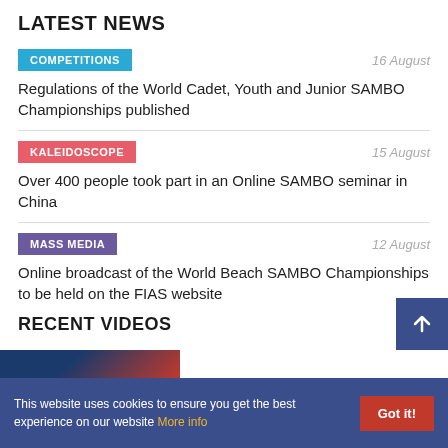LATEST NEWS
COMPETITIONS | 16 August — Regulations of the World Cadet, Youth and Junior SAMBO Championships published
KALEIDOSCOPE | 15 August — Over 400 people took part in an Online SAMBO seminar in China
MASS MEDIA | 12 August — Online broadcast of the World Beach SAMBO Championships to be held on the FIAS website
RECENT VIDEOS
This website uses cookies to ensure you get the best experience on our website More info